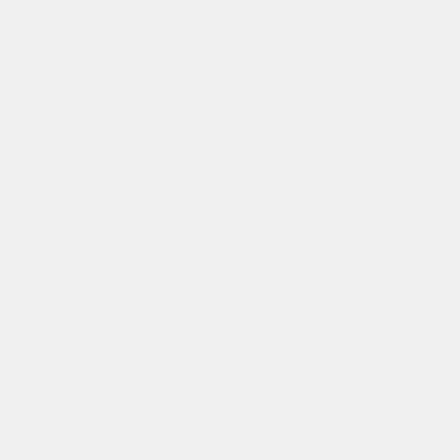Cherished Pet!!!
That pen is awesome, yes, it nee How clever of Kevin & Guy!
So good to see how she is doing
Posted by: Colleen & Sweet Kitty Erin | April 27,
Margaret is the new Widget! hah
Posted by: Kate and Luke | April 27, 2009 at 01:0
WOW!!!! That is pretty darn slick!
Posted by: Stephanie | April 27, 2009 at 01:00 PM
I'm a member of the Margaret fa the update on Margaret the mobi amazingly clever unit you design I'm totally impressed. Sure think